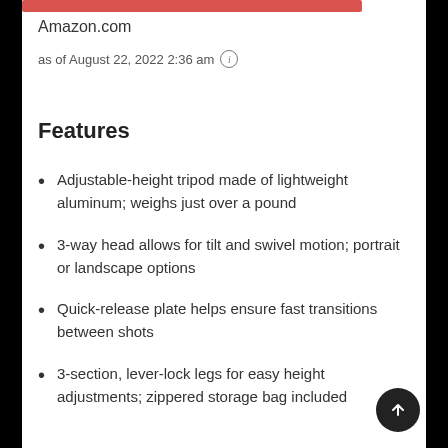Amazon.com
as of August 22, 2022 2:36 am
Features
Adjustable-height tripod made of lightweight aluminum; weighs just over a pound
3-way head allows for tilt and swivel motion; portrait or landscape options
Quick-release plate helps ensure fast transitions between shots
3-section, lever-lock legs for easy height adjustments; zippered storage bag included